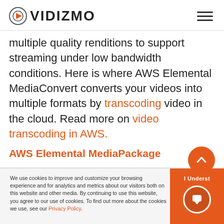[Figure (logo): VIDIZMO logo with circular orange icon and bold uppercase text, plus hamburger menu icon on the right]
multiple quality renditions to support streaming under low bandwidth conditions. Here is where AWS Elemental MediaConvert converts your videos into multiple formats by transcoding video in the cloud. Read more on video transcoding in AWS.
AWS Elemental MediaPackage
We use cookies to improve and customize your browsing experience and for analytics and metrics about our visitors both on this website and other media. By continuing to use this website, you agree to our use of cookies. To find out more about the cookies we use, see our Privacy Policy.